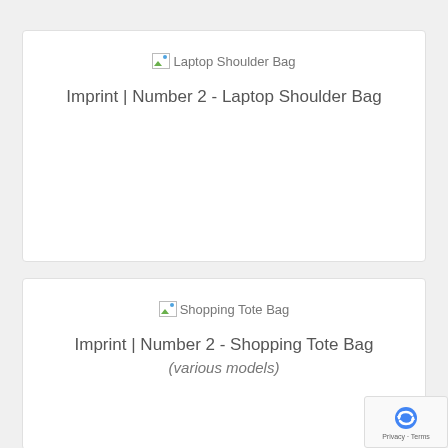[Figure (screenshot): Card with broken image placeholder labeled 'Laptop Shoulder Bag' and product title text]
Imprint | Number 2 - Laptop Shoulder Bag
[Figure (screenshot): Card with broken image placeholder labeled 'Shopping Tote Bag' and product title text with subtitle]
Imprint | Number 2 - Shopping Tote Bag
(various models)